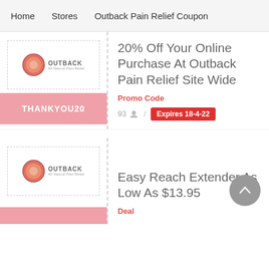Home   Stores   Outback Pain Relief Coupon
[Figure (logo): Outback All Natural Pain Relief logo with circular emblem]
20% Off Your Online Purchase At Outback Pain Relief Site Wide
Promo Code
THANKYOU20
93 / Expires 18-4-22
[Figure (logo): Outback All Natural Pain Relief logo with circular emblem]
Easy Reach Extender As Low As $13.95
Deal